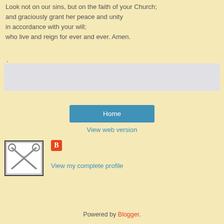Look not on our sins, but on the faith of your Church;
and graciously grant her peace and unity
in accordance with your will;
who live and reign for ever and ever. Amen.
.
[Figure (other): Gray advertisement/placeholder box]
Home
View web version
[Figure (illustration): Square image with ornate keys cross design in a decorative frame]
[Figure (logo): Blogger icon - orange square with white B]
View my complete profile
Powered by Blogger.